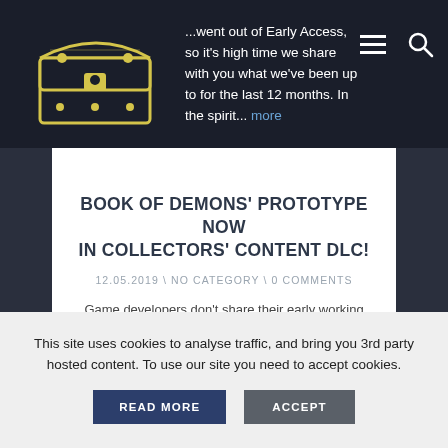...went out of Early Access, so it's high time we share with you what we've been up to for the last 12 months. In the spirit... more
BOOK OF DEMONS' PROTOTYPE NOW IN COLLECTORS' CONTENT DLC!
12.05.2019 \ NO CATEGORY \ 0 COMMENTS
Game developers don't share their early working concepts of games - the prototypes - often. When they do it's usually super interesting to see how the game changed and get a glimpse into the creation process. That's why we would like to... more
This site uses cookies to analyse traffic, and bring you 3rd party hosted content. To use our site you need to accept cookies.